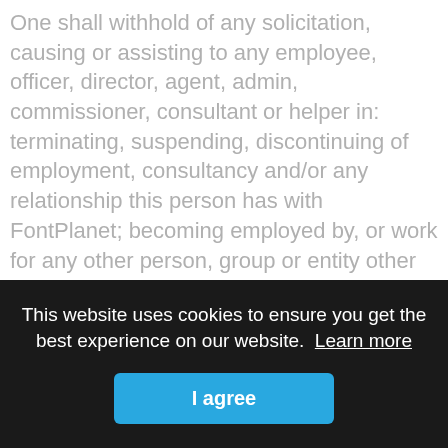One shall withhold of any solicitation, causing or assisting to any employee, officer, director, agent, admin, commissioner, consultant or helper in: terminating, suspending, discontinuing of employment, consultancy and/or any relationship this person has with FontPlanet; becoming employed by, or work for any other person, group or entity other than FontPlanet. One shall further withhold from soliciting or causing an existing or potential Customer to cease using FontPlanet and the provided Products and Services or soliciting and causing a potential Customer to use other Products or Services competitive with FontPlanet's Products and Services. One may NOT, in any way aid, abet or authorize any person, group or entity in any of the aforementioned actions. One shall further withhold from making any statement negative or derogatory about FontPlanet or any of its Representatives, which may result in hurting the reputation, image or goodwill of FontPlanet or its Representatives.
This website uses cookies to ensure you get the best experience on our website. Learn more
I agree